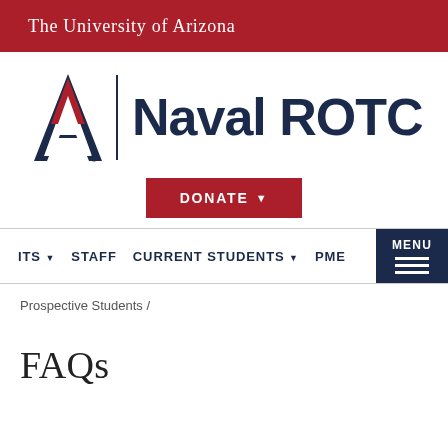The University of Arizona
[Figure (logo): University of Arizona Naval ROTC logo with UA block A and text Naval ROTC]
[Figure (other): DONATE button with arrow]
ITS ▾   STAFF   CURRENT STUDENTS ▾   PME   MENU
Prospective Students /
FAQs